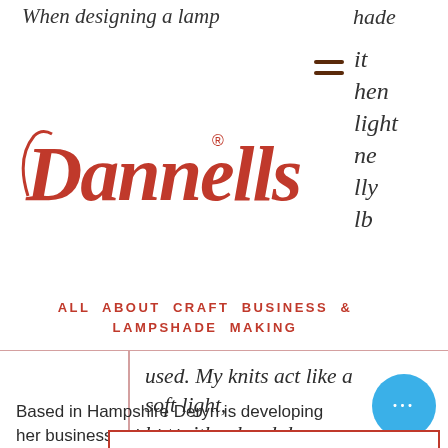When designing a lampshade
[Figure (logo): Dannells logo in red cursive script with registered trademark symbol]
ALL ABOUT CRAFT BUSINESS & LAMPSHADE MAKING
used. My knits act like a soft light, but with a hard drum lampshade you should consider the inside as much as the outside!
Join our Directory >
Based in Hampshire Deryn is developing her business to include